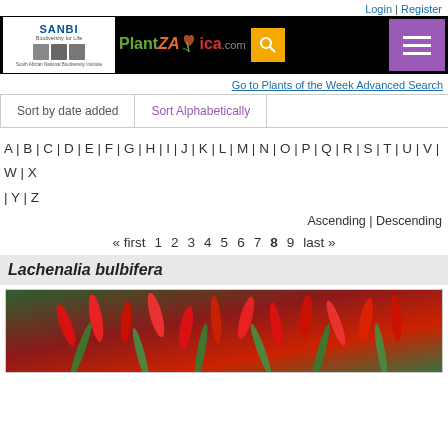Login | Register
[Figure (logo): SANBI and PlantZAfrica.com navigation header with search and menu buttons]
Go to Plants of the Week Advanced Search
Sort by date added
Sort Alphabetically
A | B | C | D | E | F | G | H | I | J | K | L | M | N | O | P | Q | R | S | T | U | V | W | X | Y | Z
Ascending | Descending
« first  1  2  3  4  5  6  7  8  9  last »
Lachenalia bulbifera
[Figure (photo): Close-up photo of Lachenalia bulbifera showing red tubular flowers with green leaves]